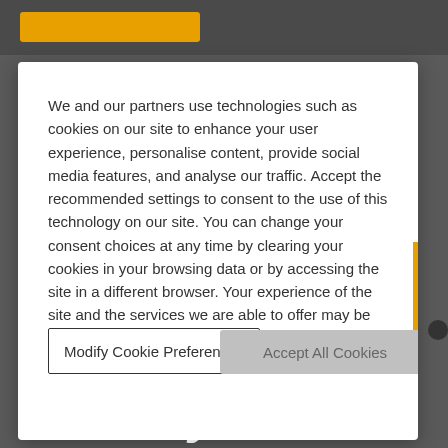[Figure (screenshot): Cookie consent modal dialog overlaid on a dark website background. The modal contains text about cookie usage, a 'Modify Cookie Preferences' button, and an 'Accept All Cookies' button.]
We and our partners use technologies such as cookies on our site to enhance your user experience, personalise content, provide social media features, and analyse our traffic. Accept the recommended settings to consent to the use of this technology on our site. You can change your consent choices at any time by clearing your cookies in your browsing data or by accessing the site in a different browser. Your experience of the site and the services we are able to offer may be impacted if you do not accept all of the cookies.
Modify Cookie Preferences
Accept All Cookies